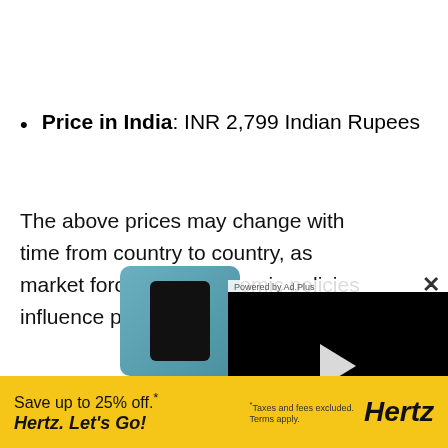Price in India: INR 2,799 Indian Rupees
The above prices may change with time from country to country, as market forces and economic policies influence product price movements.
[Figure (screenshot): Powered by Ad.Plus video overlay with close button and play button on black background, over a teal smartphone image and a yellow Hertz advertisement banner at the bottom reading 'Save up to 25% off. Hertz. Let's Go!' with terms and Hertz logo.]